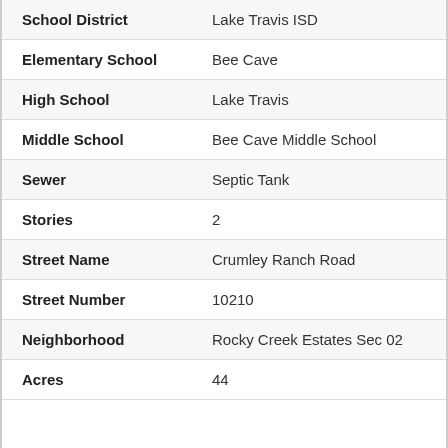| Field | Value |
| --- | --- |
| School District | Lake Travis ISD |
| Elementary School | Bee Cave |
| High School | Lake Travis |
| Middle School | Bee Cave Middle School |
| Sewer | Septic Tank |
| Stories | 2 |
| Street Name | Crumley Ranch Road |
| Street Number | 10210 |
| Neighborhood | Rocky Creek Estates Sec 02 |
| Acres | 44 |